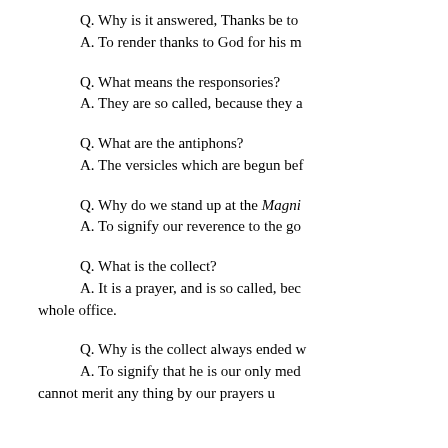Q. Why is it answered, Thanks be to
A. To render thanks to God for his m
Q. What means the responsories?
A. They are so called, because they a
Q. What are the antiphons?
A. The versicles which are begun bef
Q. Why do we stand up at the Magni
A. To signify our reverence to the go
Q. What is the collect?
A. It is a prayer, and is so called, bec whole office.
Q. Why is the collect always ended w
A. To signify that he is our only med cannot merit any thing by our prayers u